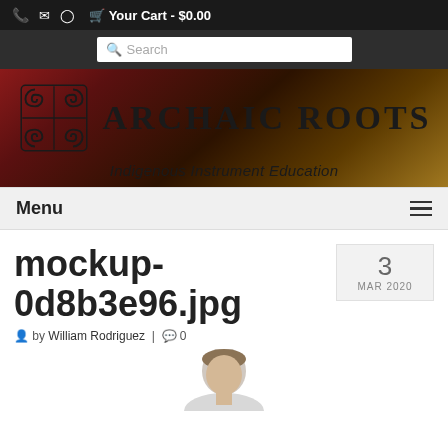Your Cart - $0.00
[Figure (screenshot): Archaic Roots website header with logo, tagline 'Indigenous Instrument Education', menu bar, and post title 'mockup-0d8b3e96.jpg' dated March 3, 2020 by William Rodriguez]
mockup-0d8b3e96.jpg
by William Rodriguez | 0